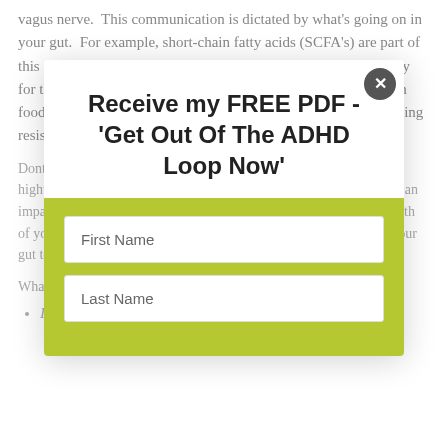vagus nerve. This communication is dictated by what's going on in your gut. For example, short-chain fatty acids (SCFA's) are part of this communication process and they are the main source of energy for the cells lining your colon. You can find SCFA's in fibre rich foods such as fruit, vegetables and legumes and in foods containing resistant starch such as cooled potatoes, rice and pasta.
[Figure (screenshot): Modal popup overlay with title 'Receive my FREE PDF - Get Out Of The ADHD Loop Now' and a green form section with First Name and Last Name input fields, and a close button (X) in the top right corner.]
Dont forget that this gut-brain axis is a two-way communication highway. If anxiety and/or depression or other signs is going to have an impact on your gut (signals from your brain to your gut) and the health of your gut is going to have an impact on your brain (signals from your gut to your brain.
What are the signs of an imbalanced gut microbiome?
Irritable and moody